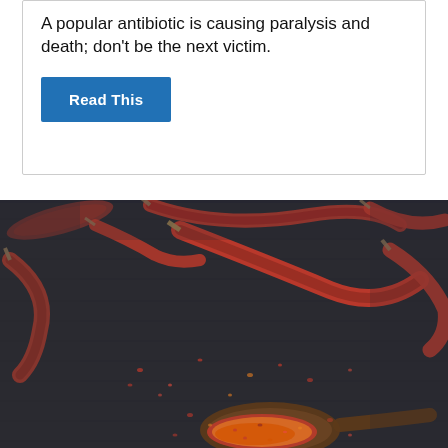A popular antibiotic is causing paralysis and death; don’t be the next victim.
Read This
[Figure (photo): Close-up photograph of dried red chili peppers scattered on a dark surface, with a wooden spoon holding crushed red chili flakes in the foreground.]